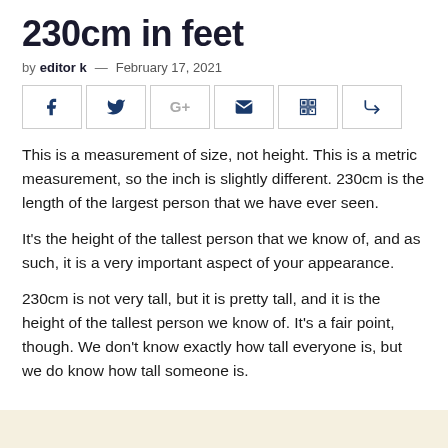230cm in feet
by editor k — February 17, 2021
[Figure (other): Social sharing buttons: Facebook, Twitter, Google+, Email, QR code, Share]
This is a measurement of size, not height. This is a metric measurement, so the inch is slightly different. 230cm is the length of the largest person that we have ever seen.
It's the height of the tallest person that we know of, and as such, it is a very important aspect of your appearance.
230cm is not very tall, but it is pretty tall, and it is the height of the tallest person we know of. It's a fair point, though. We don't know exactly how tall everyone is, but we do know how tall someone is.